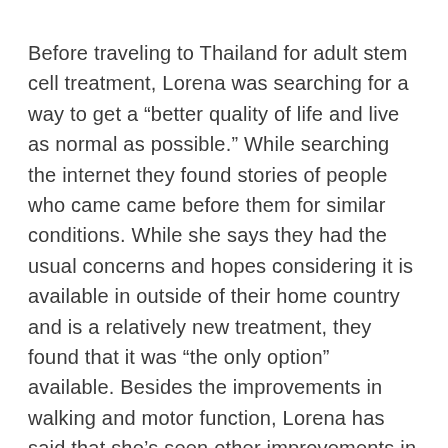Before traveling to Thailand for adult stem cell treatment, Lorena was searching for a way to get a “better quality of life and live as normal as possible.” While searching the internet they found stories of people who came came before them for similar conditions. While she says they had the usual concerns and hopes considering it is available in outside of their home country and is a relatively new treatment, they found that it was “the only option” available. Besides the improvements in walking and motor function, Lorena has said that she’s seen other improvements in communication, swallowing, trunk control, and her double vision just 3 months after treatment. Her improvements have been covered extensively in the Brazilian news media (links below).